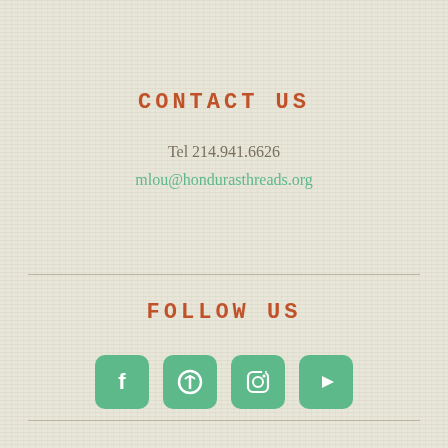CONTACT US
Tel 214.941.6626
mlou@hondurasthreads.org
FOLLOW US
[Figure (infographic): Four social media icons in green rounded squares: Facebook, Pinterest, Instagram, YouTube]